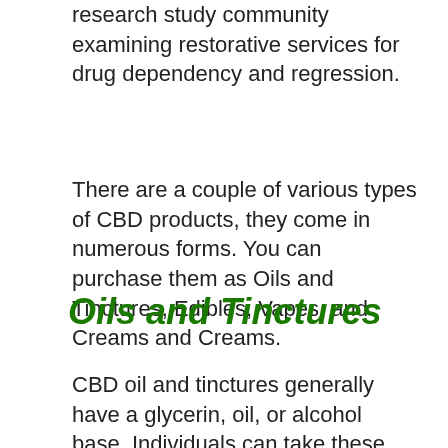research study community examining restorative services for drug dependency and regression.
There are a couple of various types of CBD products, they come in numerous forms. You can purchase them as Oils and Tinctures, Edibles, Vapes, and Creams and Creams.
Oils and Tinctures
CBD oil and tinctures generally have a glycerin, oil, or alcohol base. Individuals can take these extracts by themselves, generally